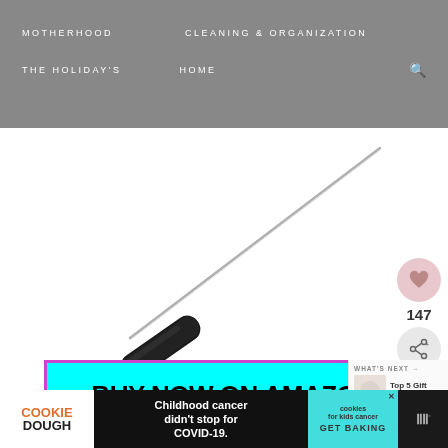MOTHERHOOD   CLEANING & ORGANIZATION   THE HOLIDAY'S   HOME
[Figure (photo): A long thin skewer or probe with a black rubber handle and silver metal shaft, photographed on a white background]
147
[Figure (infographic): BUY NOW ON AMAZON button on cyan background with magenta border]
WHAT'S NEXT → Top 5 Gift Ideas for yo...
[Figure (infographic): Cookie Dough advertisement banner: Childhood cancer didn't stop for COVID-19. GET BAKING]